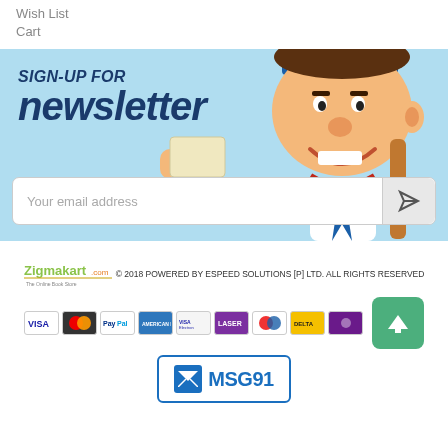Wish List
Cart
[Figure (illustration): Newsletter sign-up banner with cartoon postman character holding a letter, light blue background, text 'SIGN-UP FOR newsletter', email input field with send button]
Zigmakart.com © 2018 POWERED BY ESPEED SOLUTIONS [P] LTD. ALL RIGHTS RESERVED
[Figure (illustration): Row of payment method icons: VISA, Mastercard, PayPal, American Express, Visa Electron, Laser, Maestro, Delta, and another card. Green back-to-top arrow button on right.]
[Figure (logo): MSG91 logo in a bordered box with envelope icon]